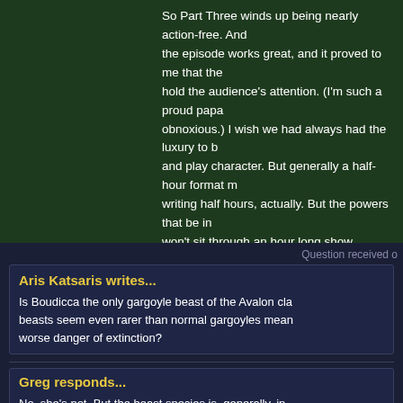So Part Three winds up being nearly action-free. And the episode works great, and it proved to me that the hold the audience's attention. (I'm such a proud papa obnoxious.) I wish we had always had the luxury to b and play character. But generally a half-hour format m writing half hours, actually. But the powers that be in won't sit through an hour long show.

As usual, I welcome posts here responding to this ep seeing it for the first time, and your current reaction i
Question received o
Aris Katsaris writes...
Is Boudicca the only gargoyle beast of the Avalon cla beasts seem even rarer than normal gargoyles mean worse danger of extinction?
Greg responds...
No, she's not. But the beast species is, generally, in